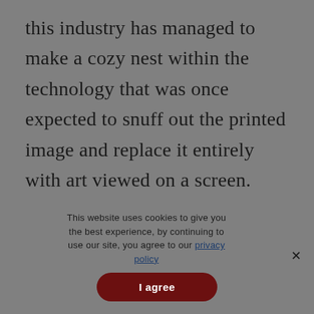this industry has managed to make a cozy nest within the technology that was once expected to snuff out the printed image and replace it entirely with art viewed on a screen.
This website uses cookies to give you the best experience, by continuing to use our site, you agree to our privacy policy